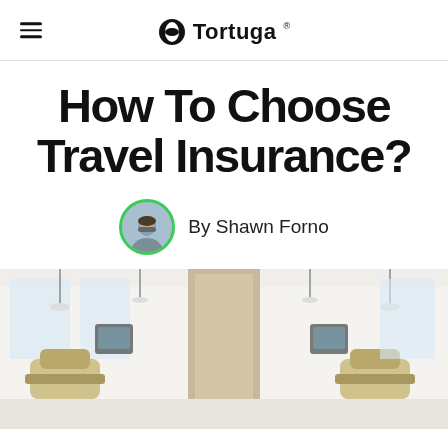Tortuga
How To Choose Travel Insurance?
By Shawn Forno
[Figure (photo): Interior of a dental or medical office with examination chairs, mounted equipment, and partitions in a bright white clinical setting.]